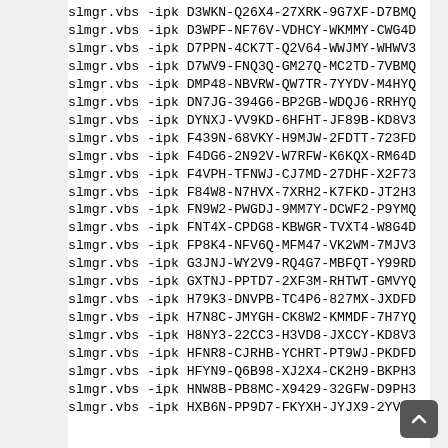slmgr.vbs -ipk D3WKN-Q26X4-27XRK-9G7XF-D7BMQ
slmgr.vbs -ipk D3WPF-NF76V-VDHCY-WKMMY-CWG4D
slmgr.vbs -ipk D7PPN-4CK7T-Q2V64-WWJMY-WHWV3
slmgr.vbs -ipk D7WV9-FNQ3Q-GM27Q-MC2TD-7VBMQ
slmgr.vbs -ipk DMP48-NBVRW-QW7TR-7YYDV-M4HYQ
slmgr.vbs -ipk DN7JG-394G6-BP2GB-WDQJ6-RRHYQ
slmgr.vbs -ipk DYNXJ-VV9KD-6HFHT-JF89B-KD8V3
slmgr.vbs -ipk F439N-68VKY-H9MJW-2FDTT-723FD
slmgr.vbs -ipk F4DG6-2N92V-W7RFW-K6KQX-RM64D
slmgr.vbs -ipk F4VPH-TFNWJ-CJ7MD-27DHF-X2F73
slmgr.vbs -ipk F84W8-N7HVX-7XRH2-K7FKD-JT2H3
slmgr.vbs -ipk FN9W2-PWGDJ-9MM7Y-DCWF2-P9YMQ
slmgr.vbs -ipk FNT4X-CPDG8-KBWGR-TVXT4-W8G4D
slmgr.vbs -ipk FP8K4-NFV6Q-MFM47-VK2WM-7MJV3
slmgr.vbs -ipk G3JNJ-WY2V9-RQ4G7-MBFQT-Y99RD
slmgr.vbs -ipk GXTNJ-PPTD7-2XF3M-RHTWT-GMVYQ
slmgr.vbs -ipk H79K3-DNVPB-TC4P6-827MX-JXDFD
slmgr.vbs -ipk H7N8C-JMYGH-CK8W2-KMMDF-7H7YQ
slmgr.vbs -ipk H8NY3-22CC3-H3VD8-JXCCY-KD8V3
slmgr.vbs -ipk HFNR8-CJRHB-YCHRT-PT9WJ-PKDFD
slmgr.vbs -ipk HFYN9-Q6B98-XJ2X4-CK2H9-BKPH3
slmgr.vbs -ipk HNW8B-PB8MC-X9429-32GFW-D9PH3
slmgr.vbs -ipk HXB6N-PP9D7-FKYXH-JYJX9-2YVYQ